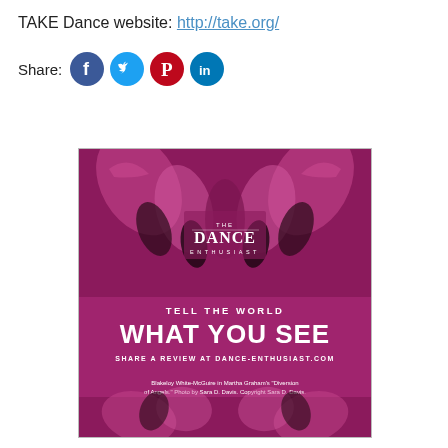TAKE Dance website: http://take.org/
Share:
[Figure (infographic): The Dance Enthusiast advertisement banner showing dance performers in purple/magenta tones with text: 'TELL THE WORLD / WHAT YOU SEE / SHARE A REVIEW AT DANCE-ENTHUSIAST.COM'. Caption: Blakeloy White-McGuire in Martha Graham's "Diversion of Angels." Photo by Sara D. Davis. Copyright Sara D. Davis.]